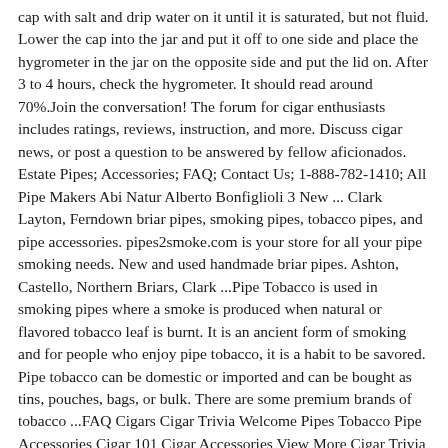cap with salt and drip water on it until it is saturated, but not fluid. Lower the cap into the jar and put it off to one side and place the hygrometer in the jar on the opposite side and put the lid on. After 3 to 4 hours, check the hygrometer. It should read around 70%.Join the conversation! The forum for cigar enthusiasts includes ratings, reviews, instruction, and more. Discuss cigar news, or post a question to be answered by fellow aficionados. Estate Pipes; Accessories; FAQ; Contact Us; 1-888-782-1410; All Pipe Makers Abi Natur Alberto Bonfiglioli 3 New ... Clark Layton, Ferndown briar pipes, smoking pipes, tobacco pipes, and pipe accessories. pipes2smoke.com is your store for all your pipe smoking needs. New and used handmade briar pipes. Ashton, Castello, Northern Briars, Clark ...Pipe Tobacco is used in smoking pipes where a smoke is produced when natural or flavored tobacco leaf is burnt. It is an ancient form of smoking and for people who enjoy pipe tobacco, it is a habit to be savored. Pipe tobacco can be domestic or imported and can be bought as tins, pouches, bags, or bulk. There are some premium brands of tobacco ...FAQ Cigars Cigar Trivia Welcome Pipes Tobacco Pipe Accessories Cigar 101 Cigar Accessories View More Cigar Trivia Share: One of the problems with trivia is that a lot of it is apocryphal or outright lies. Some trivia sounds so intriguing that we want it to be true because it has an air of romance or strangeness about it.FAQ Cigars Cigar Trivia Welcome Pipes Tobacco Pipe Accessories Cigar 101 Cigar Accessories View More Cigar Trivia Share: One of the problems